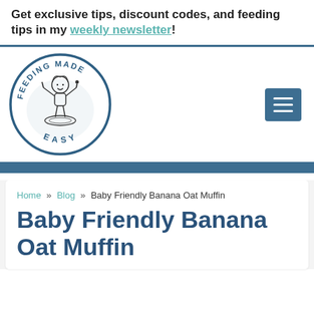Get exclusive tips, discount codes, and feeding tips in my weekly newsletter!
[Figure (logo): Feeding Made Easy circular logo with cartoon child holding utensils over a plate, surrounded by text 'FEEDING MADE EASY' around the circle border]
Baby Friendly Banana Oat Muffin
Baby Friendly Banana Oat Muffin